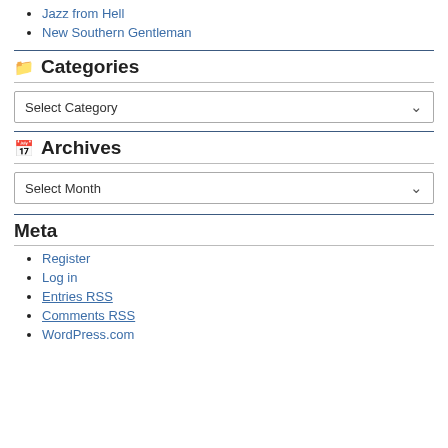Jazz from Hell
New Southern Gentleman
Categories
Select Category
Archives
Select Month
Meta
Register
Log in
Entries RSS
Comments RSS
WordPress.com